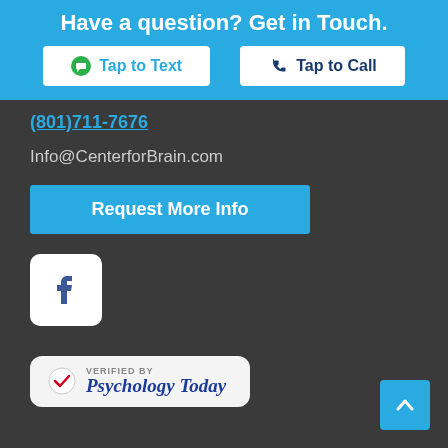Have a question? Get in Touch.
Tap to Text
Tap to Call
(801)711-7676
Info@CenterforBrain.com
Request More Info
[Figure (logo): Facebook icon — white rounded square with blue 'f' lettermark]
[Figure (logo): Verified by Psychology Today badge — checkmark with red tick, blue italic text 'Psychology Today']